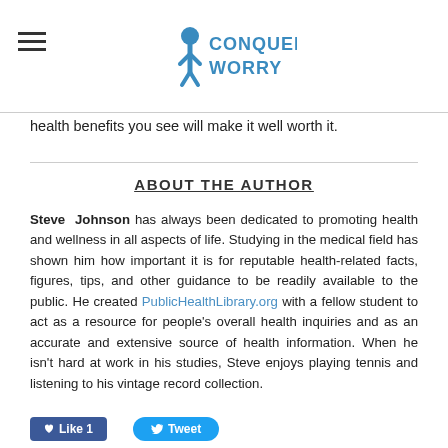Conquer Worry
health benefits you see will make it well worth it.
ABOUT THE AUTHOR
Steve Johnson has always been dedicated to promoting health and wellness in all aspects of life. Studying in the medical field has shown him how important it is for reputable health-related facts, figures, tips, and other guidance to be readily available to the public. He created PublicHealthLibrary.org with a fellow student to act as a resource for people's overall health inquiries and as an accurate and extensive source of health information. When he isn't hard at work in his studies, Steve enjoys playing tennis and listening to his vintage record collection.